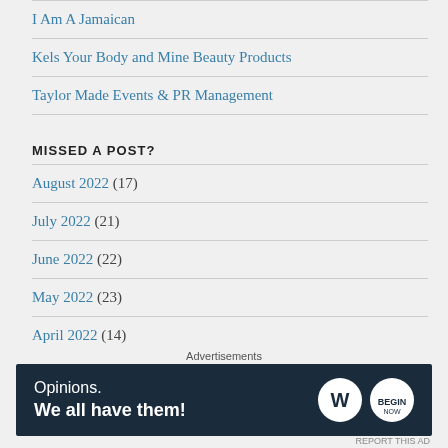I Am A Jamaican
Kels Your Body and Mine Beauty Products
Taylor Made Events & PR Management
MISSED A POST?
August 2022 (17)
July 2022 (21)
June 2022 (22)
May 2022 (23)
April 2022 (14)
March 2022 (18)
Advertisements
[Figure (other): WordPress advertisement banner: 'Opinions. We all have them!' with WordPress and Begin logos on dark navy background]